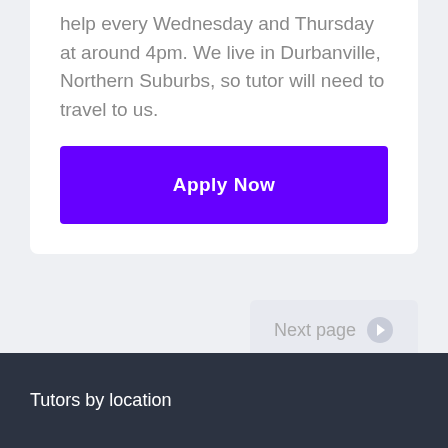help every Wednesday and Thursday at around 4pm. We live in Durbanville, Northern Suburbs, so tutor will need to travel to us.
[Figure (other): Purple 'Apply Now' button]
[Figure (other): Light grey 'Next page' button with right arrow icon]
Tutors by location